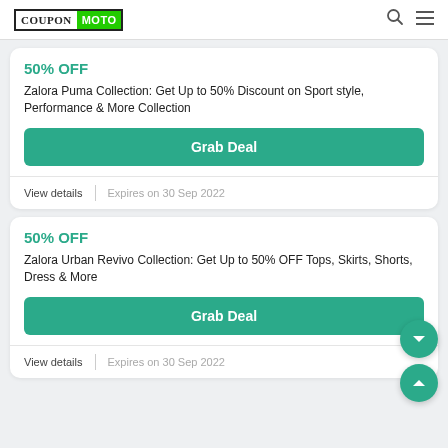CouponMoto
50% OFF
Zalora Puma Collection: Get Up to 50% Discount on Sport style, Performance & More Collection
Grab Deal
View details  |  Expires on 30 Sep 2022
50% OFF
Zalora Urban Revivo Collection: Get Up to 50% OFF Tops, Skirts, Shorts, Dress & More
Grab Deal
View details  |  Expires on 30 Sep 2022